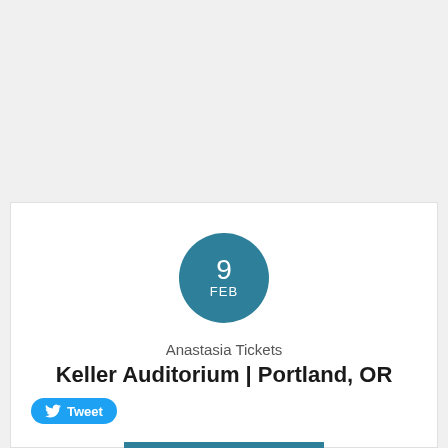[Figure (other): Teal circular date badge showing '9' and 'FEB']
Anastasia Tickets
Keller Auditorium | Portland, OR
[Figure (other): Twitter Tweet button]
GET TICKETS